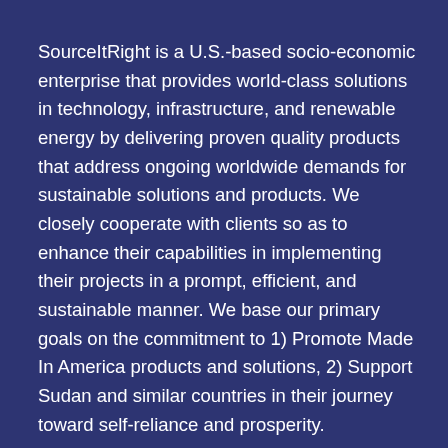SourceItRight is a U.S.-based socio-economic enterprise that provides world-class solutions in technology, infrastructure, and renewable energy by delivering proven quality products that address ongoing worldwide demands for sustainable solutions and products. We closely cooperate with clients so as to enhance their capabilities in implementing their projects in a prompt, efficient, and sustainable manner. We base our primary goals on the commitment to 1) Promote Made In America products and solutions, 2) Support Sudan and similar countries in their journey toward self-reliance and prosperity.